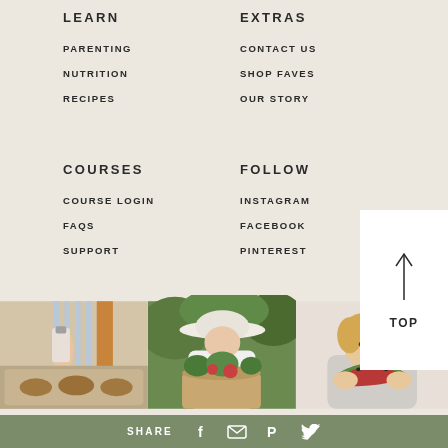LEARN
PARENTING
NUTRITION
RECIPES
EXTRAS
CONTACT US
SHOP FAVES
OUR STORY
COURSES
COURSE LOGIN
FAQS
SUPPORT
FOLLOW
INSTAGRAM
FACEBOOK
PINTEREST
[Figure (other): Back to top button with upward arrow and text TOP]
[Figure (photo): Three lifestyle photos: person cooking, woman in hat with vegetables, child eating watermelon]
SHARE